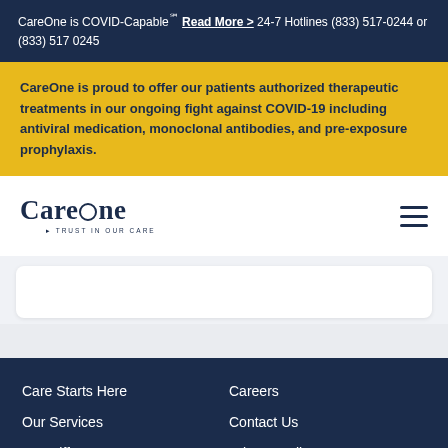CareOne is COVID-Capable℠ Read More > 24-7 Hotlines (833) 517-0244 or (833) 517 0245
CareOne is proud to offer our patients authorized therapeutic treatments in our ongoing fight against COVID-19 including antiviral medication, monoclonal antibodies, and pre-exposure prophylaxis.
[Figure (logo): CareOne logo with tagline 'Trust In Our Care' and hamburger menu icon]
Care Starts Here | Careers | Our Services | Contact Us | Our Difference | Privacy Policy